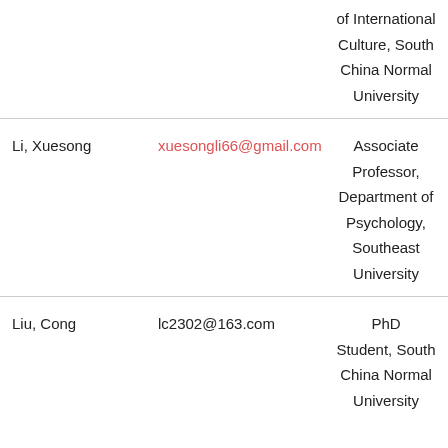| Name | Email | Affiliation |
| --- | --- | --- |
|  |  | of International Culture, South China Normal University |
| Li, Xuesong | xuesongli66@gmail.com | Associate Professor, Department of Psychology, Southeast University |
| Liu, Cong | lc2302@163.com | PhD Student, South China Normal University |